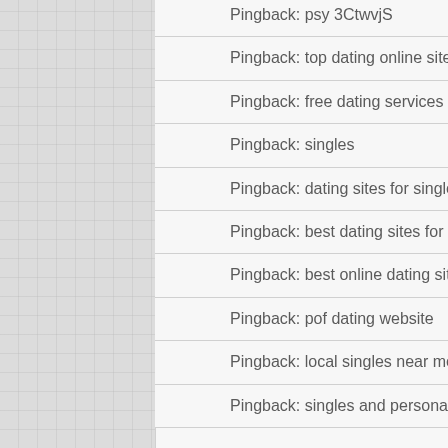Pingback: psy 3CtwvjS
Pingback: top dating online sites
Pingback: free dating services online
Pingback: singles
Pingback: dating sites for singles
Pingback: best dating sites for free
Pingback: best online dating sites
Pingback: pof dating website
Pingback: local singles near me free
Pingback: singles and personals